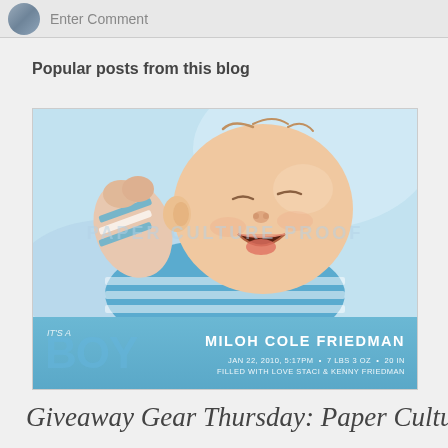Enter Comment
Popular posts from this blog
[Figure (photo): Birth announcement card for Miloh Cole Friedman featuring a photo of a yawning newborn baby in blue striped clothing on a blue background. The bottom bar reads 'IT'S A BOY' with name MILOH COLE FRIEDMAN, date JAN 22, 2010, 5:17PM, 7 LBS 3 OZ, 20 IN, FILLED WITH LOVE STACI & KENNY FRIEDMAN. A watermark reading 'PAPER CULTURE PROOF' is visible.]
Giveaway Gear Thursday: Paper Culture